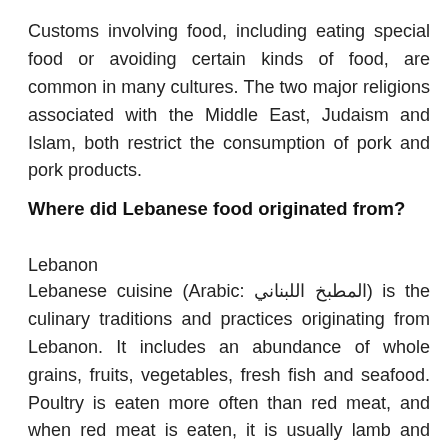Customs involving food, including eating special food or avoiding certain kinds of food, are common in many cultures. The two major religions associated with the Middle East, Judaism and Islam, both restrict the consumption of pork and pork products.
Where did Lebanese food originated from?
Lebanon
Lebanese cuisine (Arabic: المطبخ اللبناني) is the culinary traditions and practices originating from Lebanon. It includes an abundance of whole grains, fruits, vegetables, fresh fish and seafood. Poultry is eaten more often than red meat, and when red meat is eaten, it is usually lamb and goat meat.